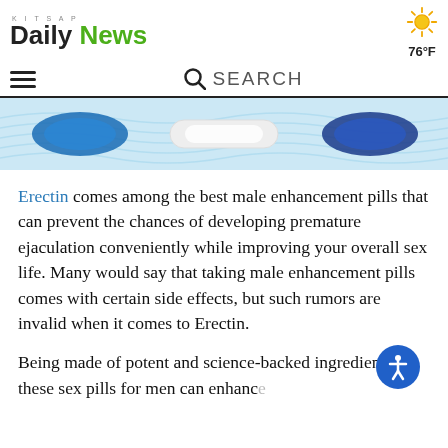KITSAP Daily News | 76°F
SEARCH
[Figure (photo): Partial view of pills or capsules on a blue and white background]
Erectin comes among the best male enhancement pills that can prevent the chances of developing premature ejaculation conveniently while improving your overall sex life. Many would say that taking male enhancement pills comes with certain side effects, but such rumors are invalid when it comes to Erectin.
Being made of potent and science-backed ingredients, these sex pills for men can enhance